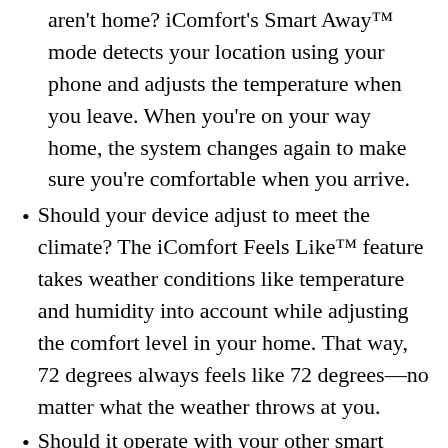aren't home? iComfort's Smart Away™ mode detects your location using your phone and adjusts the temperature when you leave. When you're on your way home, the system changes again to make sure you're comfortable when you arrive.
Should your device adjust to meet the climate? The iComfort Feels Like™ feature takes weather conditions like temperature and humidity into account while adjusting the comfort level in your home. That way, 72 degrees always feels like 72 degrees—no matter what the weather throws at you.
Should it operate with your other smart devices? Some smart thermostats align with Amazon Alexa and Apple Homekit. With voice commands, you can adjust your